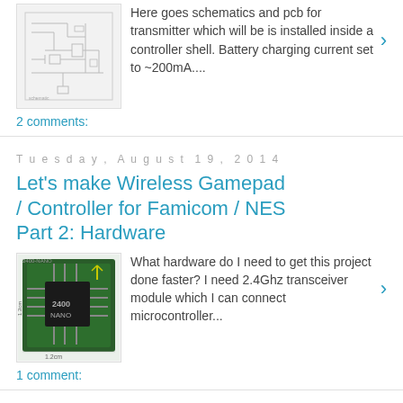[Figure (schematic): Schematic/PCB thumbnail image for transmitter design]
Here goes schematics and pcb for transmitter which will be is installed inside a controller shell. Battery charging current set to ~200mA....
2 comments:
Tuesday, August 19, 2014
Let's make Wireless Gamepad / Controller for Famicom / NES Part 2: Hardware
[Figure (photo): 2400-NANO transceiver module PCB, 1.2cm x 1.2cm]
What hardware do I need to get this project done faster? I need 2.4Ghz transceiver module which I can connect microcontroller...
1 comment:
Sunday, August 10, 2014
Let's make Wireless Gamepad / Controller for Famicom / NES